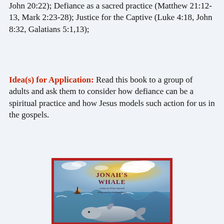John 20:22); Defiance as a sacred practice (Matthew 21:12-13, Mark 2:23-28); Justice for the Captive (Luke 4:18, John 8:32, Galatians 5:1,13);
Idea(s) for Application: Read this book to a group of adults and ask them to consider how defiance can be a spiritual practice and how Jesus models such action for us in the gospels.
[Figure (illustration): Book cover of 'Jonah's Whale' written by Eileen Spinelli and illustrated by Giuliano Ferri. The cover shows dramatic ocean waves with a whale, a boat, and a glowing sky. The title 'JONAH'S WHALE' is in large dark red bold text at the top center. Author and illustrator names appear below the title in smaller text.]